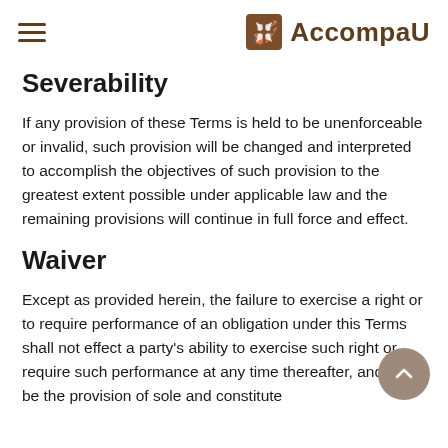≡  AccompaU
Severability
If any provision of these Terms is held to be unenforceable or invalid, such provision will be changed and interpreted to accomplish the objectives of such provision to the greatest extent possible under applicable law and the remaining provisions will continue in full force and effect.
Waiver
Except as provided herein, the failure to exercise a right or to require performance of an obligation under this Terms shall not effect a party's ability to exercise such right or require such performance at any time thereafter, and shall be the provision of sole and constitute